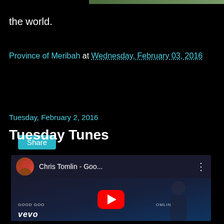[Figure (photo): Partial green/nature image strip at top of page]
the world.
Province of Meribah at Wednesday, February 03, 2016
Share
Tuesday, February 2, 2016
Tuesday Tunes
[Figure (screenshot): YouTube video embed showing Chris Tomlin - Goo... with play button, vevo branding, and thumbnail of Chris Tomlin]